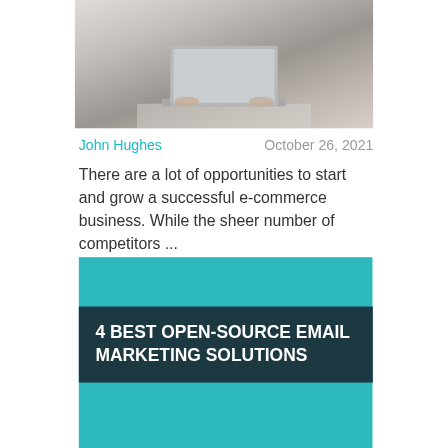[Figure (photo): Partial photo of person using a laptop, cropped at top showing hands on keyboard, white/grey tones]
John Hughes     October 26, 2021
There are a lot of opportunities to start and grow a successful e-commerce business. While the sheer number of competitors ...
[Figure (photo): Teal/cyan colored card with dark teal title bar containing text: 4 BEST OPEN-SOURCE EMAIL MARKETING SOLUTIONS]
4 BEST OPEN-SOURCE EMAIL MARKETING SOLUTIONS